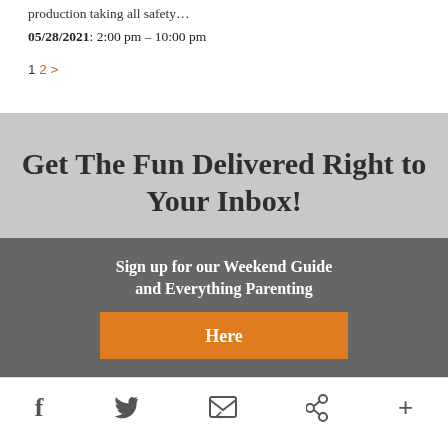production taking all safety…
05/28/2021: 2:00 pm – 10:00 pm
1 2 >
Get The Fun Delivered Right to Your Inbox!
Sign up for our Weekend Guide and Everything Parenting
Here
f  twitter  envelope  pinterest  +